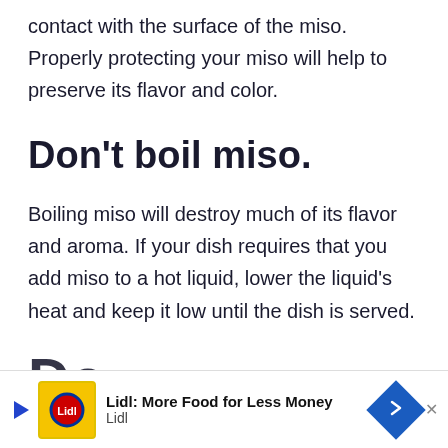contact with the surface of the miso. Properly protecting your miso will help to preserve its flavor and color.
Don't boil miso.
Boiling miso will destroy much of its flavor and aroma. If your dish requires that you add miso to a hot liquid, lower the liquid's heat and keep it low until the dish is served.
Do
[Figure (screenshot): Lidl advertisement banner: 'Lidl: More Food for Less Money' with Lidl logo icon and blue arrow button]